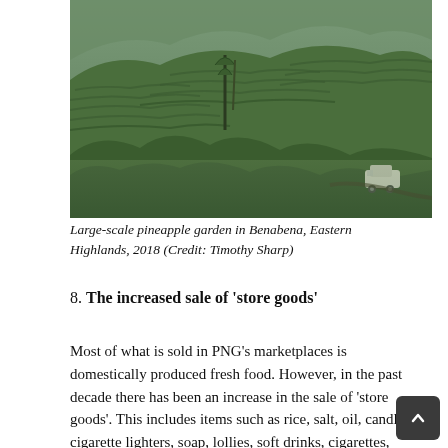[Figure (photo): Large-scale pineapple garden on hillside terrain in Benabena, Eastern Highlands, PNG, 2018. Dense rows of pineapple plants cover rolling hills with a vehicle visible in the lower right. Credit: Timothy Sharp.]
Large-scale pineapple garden in Benabena, Eastern Highlands, 2018 (Credit: Timothy Sharp)
8. The increased sale of 'store goods'
Most of what is sold in PNG's marketplaces is domestically produced fresh food. However, in the past decade there has been an increase in the sale of 'store goods'. This includes items such as rice, salt, oil, candles, cigarette lighters, soap, lollies, soft drinks, cigarettes, plastic bags, second-hand clothes, and mobile phone credit. In some marketplaces items su